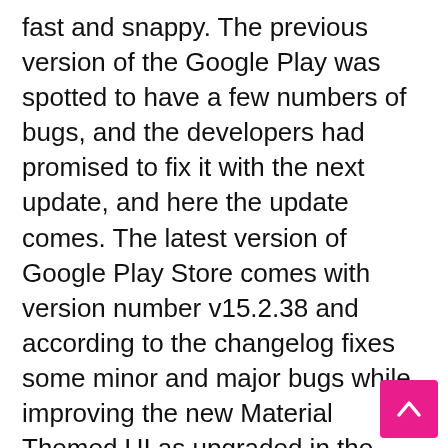fast and snappy. The previous version of the Google Play was spotted to have a few numbers of bugs, and the developers had promised to fix it with the next update, and here the update comes. The latest version of Google Play Store comes with version number v15.2.38 and according to the changelog fixes some minor and major bugs while improving the new Material Themed UI as upgraded in the previous updates.
The Google Play Store has hence received a minor performance and User- Interface upgrade, and thus, we will recommend the users to download and install the update as soon as possible. The update is rolling out slowly to the users, and if you are interested in